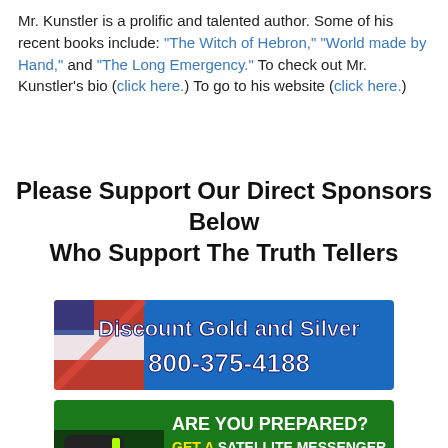Mr. Kunstler is a prolific and talented author. Some of his recent books include: “The Witch of Hebron,” “World made by Hand,” and “The Long Emergency.” To check out Mr. Kunstler’s bio (click here.) To go to his website (click here.)
Please Support Our Direct Sponsors Below
Who Support The Truth Tellers
[Figure (advertisement): Discount Gold and Silver banner ad with phone number 800-375-4188, blue background with American flag imagery]
[Figure (advertisement): Green banner ad: ARE YOU PREPARED? GET A SATELLITE MESSENGER. CLICK HERE. CALL 855-917-0897]